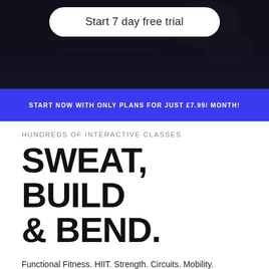[Figure (photo): Dark background hero image with a fitness/gym scene visible at top, mostly obscured by dark overlay]
Start 7 day free trial
START NOW WITH ONLY PLANS FOR JUST £7.99/ MONTH!
HUNDREDS OF INTERACTIVE CLASSES
SWEAT, BUILD & BEND.
Functional Fitness. HIIT. Strength. Circuits. Mobility. Stretching. Pilates. Yoga. Breathwork. Level up your performance with hundreds of on-demand classes, group workouts and training plans — from entry